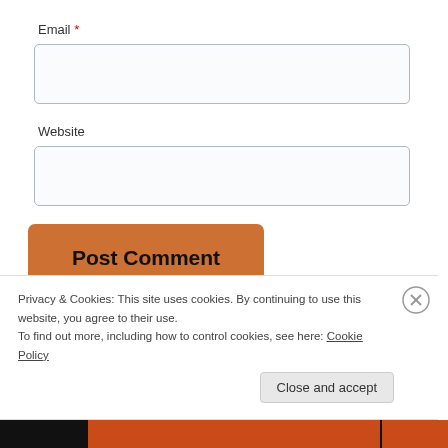Email *
[Figure (screenshot): Empty text input field for Email]
Website
[Figure (screenshot): Empty text input field for Website]
[Figure (screenshot): Post Comment button in orange/brown]
Notify me of new comments via email.
Notify me of new posts via email.
Privacy & Cookies: This site uses cookies. By continuing to use this website, you agree to their use.
To find out more, including how to control cookies, see here: Cookie Policy
Close and accept